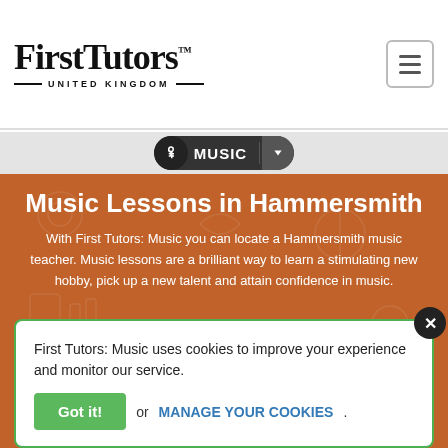[Figure (logo): First Tutors United Kingdom logo with hamburger menu icon]
MUSIC
Music Lessons in Hammersmith
With First Tutors: Music you can locate a Hammersmith music teacher. Music lessons are a brilliant way to learn a stimulating new hobby, pick up a new talent and attain confidence in music.
[Figure (logo): Trustpilot logo with 5 green stars]
[Figure (logo): Reviews badge with orange stars]
First Tutors: Music uses cookies to improve your experience and monitor our service.